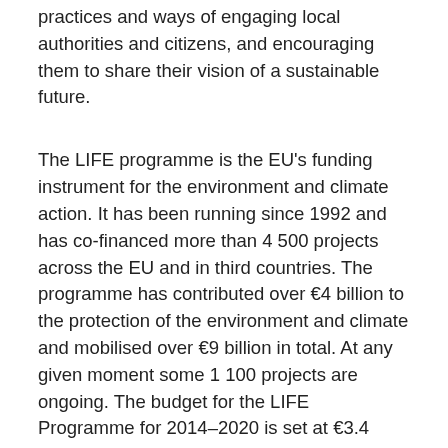practices and ways of engaging local authorities and citizens, and encouraging them to share their vision of a sustainable future.
The LIFE programme is the EU's funding instrument for the environment and climate action. It has been running since 1992 and has co-financed more than 4 500 projects across the EU and in third countries. The programme has contributed over €4 billion to the protection of the environment and climate and mobilised over €9 billion in total. At any given moment some 1 100 projects are ongoing. The budget for the LIFE Programme for 2014–2020 is set at €3.4 billion, and has sub-programmes for environment and climate action.
View a gallery of pictures of the LIFE Awards ceremony here.